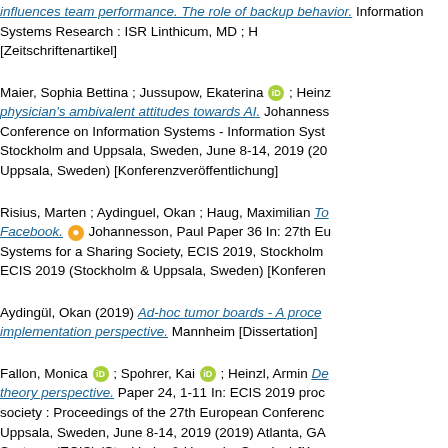influences team performance. The role of backup behavior. Information Systems Research : ISR Linthicum, MD ; H [Zeitschriftenartikel]
Maier, Sophia Bettina ; Jussupow, Ekaterina [ORCID] ; Heinz... physician's ambivalent attitudes towards AI. Johanness... Conference on Information Systems - Information Syst... Stockholm and Uppsala, Sweden, June 8-14, 2019 (20... Uppsala, Sweden) [Konferenzveröffentlichung]
Risius, Marten ; Aydinguel, Okan ; Haug, Maximilian To... Facebook. [open access] Johannesson, Paul Paper 36 In: 27th Eu... Systems for a Sharing Society, ECIS 2019, Stockholm ECIS 2019 (Stockholm & Uppsala, Sweden) [Konferen...
Aydingül, Okan (2019) Ad-hoc tumor boards - A proces... implementation perspective. Mannheim [Dissertation]
Fallon, Monica [ORCID] ; Spohrer, Kai [ORCID] ; Heinzl, Armin De... theory perspective. Paper 24, 1-11 In: ECIS 2019 proc... society : Proceedings of the 27th European Conferenc... Uppsala, Sweden, June 8-14, 2019 (2019) Atlanta, GA Systems (ECIS) (Stockholm & Uppsala, Sweden) [Kon...
Hoffmann, Philipp [ORCID] ; Mateja, Deborah ; Spohrer, Kai gap in enterprise cloud software development through Helmut Paper 11 In: Proceedings of the International C... Information Systems at the Heart of Innovation Ecosys... December 15-18, 2019 (2019) Atlanta, GA 40th ICIS 20...